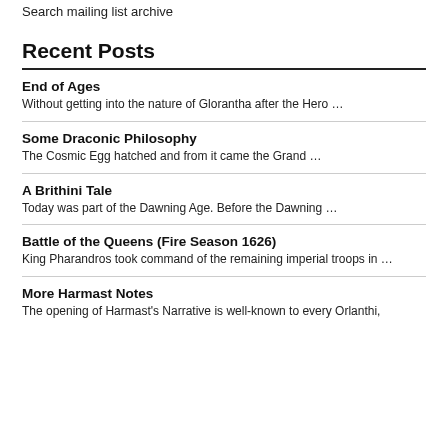Search mailing list archive
Recent Posts
End of Ages
Without getting into the nature of Glorantha after the Hero …
Some Draconic Philosophy
The Cosmic Egg hatched and from it came the Grand …
A Brithini Tale
Today was part of the Dawning Age. Before the Dawning …
Battle of the Queens (Fire Season 1626)
King Pharandros took command of the remaining imperial troops in …
More Harmast Notes
The opening of Harmast's Narrative is well-known to every Orlanthi,